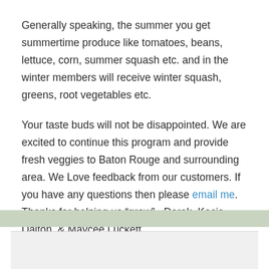Generally speaking, the summer you get summertime produce like tomatoes, beans, lettuce, corn, summer squash etc. and in the winter members will receive winter squash, greens, root vegetables etc.
Your taste buds will not be disappointed. We are excited to continue this program and provide fresh veggies to Baton Rouge and surrounding area. We Love feedback from our customers. If you have any questions then please email me. Thanks for helping us “grow” ~Derek, Kacie, Dalton, & Maycee Luckett